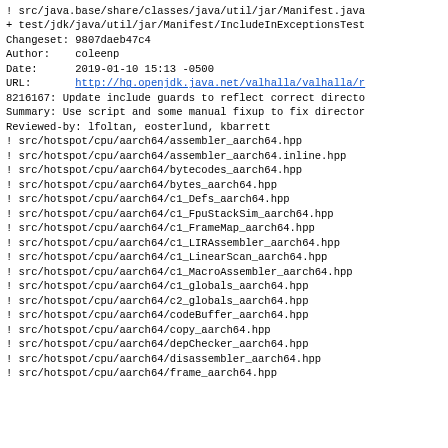! src/java.base/share/classes/java/util/jar/Manifest.java
+ test/jdk/java/util/jar/Manifest/IncludeInExceptionsTest
Changeset: 9807daeb47c4
Author:    coleenp
Date:      2019-01-10 15:13 -0500
URL:       http://hg.openjdk.java.net/valhalla/valhalla/r
8216167: Update include guards to reflect correct directo
Summary: Use script and some manual fixup to fix director
Reviewed-by: lfoltan, eosterlund, kbarrett
! src/hotspot/cpu/aarch64/assembler_aarch64.hpp
! src/hotspot/cpu/aarch64/assembler_aarch64.inline.hpp
! src/hotspot/cpu/aarch64/bytecodes_aarch64.hpp
! src/hotspot/cpu/aarch64/bytes_aarch64.hpp
! src/hotspot/cpu/aarch64/c1_Defs_aarch64.hpp
! src/hotspot/cpu/aarch64/c1_FpuStackSim_aarch64.hpp
! src/hotspot/cpu/aarch64/c1_FrameMap_aarch64.hpp
! src/hotspot/cpu/aarch64/c1_LIRAssembler_aarch64.hpp
! src/hotspot/cpu/aarch64/c1_LinearScan_aarch64.hpp
! src/hotspot/cpu/aarch64/c1_MacroAssembler_aarch64.hpp
! src/hotspot/cpu/aarch64/c1_globals_aarch64.hpp
! src/hotspot/cpu/aarch64/c2_globals_aarch64.hpp
! src/hotspot/cpu/aarch64/codeBuffer_aarch64.hpp
! src/hotspot/cpu/aarch64/copy_aarch64.hpp
! src/hotspot/cpu/aarch64/depChecker_aarch64.hpp
! src/hotspot/cpu/aarch64/disassembler_aarch64.hpp
! src/hotspot/cpu/aarch64/frame_aarch64.hpp